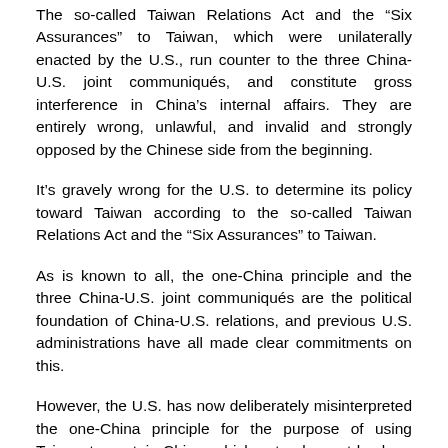The so-called Taiwan Relations Act and the “Six Assurances” to Taiwan, which were unilaterally enacted by the U.S., run counter to the three China-U.S. joint communiqués, and constitute gross interference in China’s internal affairs. They are entirely wrong, unlawful, and invalid and strongly opposed by the Chinese side from the beginning.
It’s gravely wrong for the U.S. to determine its policy toward Taiwan according to the so-called Taiwan Relations Act and the “Six Assurances” to Taiwan.
As is known to all, the one-China principle and the three China-U.S. joint communiqués are the political foundation of China-U.S. relations, and previous U.S. administrations have all made clear commitments on this.
However, the U.S. has now deliberately misinterpreted the one-China principle for the purpose of using Taiwan to contain China, which not only went back on its promises and discredited its image as a major country, but challenged the basic norms governing international relations.
National reunification is a justifiable and inevitable requirement for all countries in the world. This is not only the...